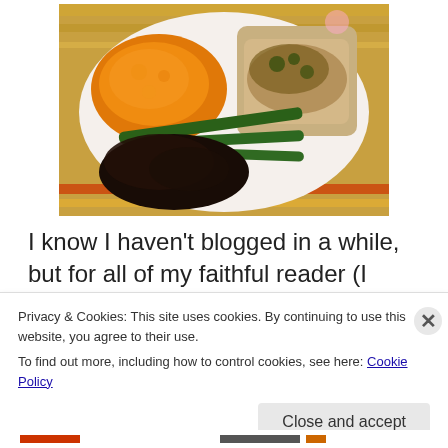[Figure (photo): A white plate with food: mashed sweet potato/squash (orange mound), sliced meat with sauce and herbs, green beans, and a dark mushroom/cranberry mixture. Plate is on a striped tablecloth.]
I know I haven't blogged in a while, but for all of my faithful reader (I know there's just one of you), here's what I made
Privacy & Cookies: This site uses cookies. By continuing to use this website, you agree to their use.
To find out more, including how to control cookies, see here: Cookie Policy
Close and accept